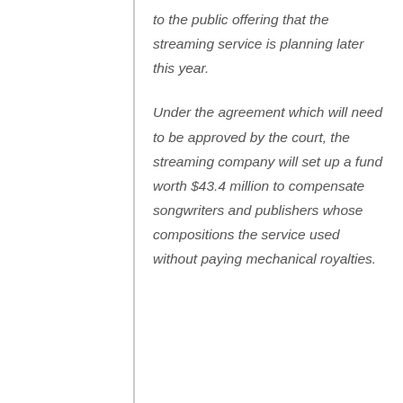to the public offering that the streaming service is planning later this year.
Under the agreement which will need to be approved by the court, the streaming company will set up a fund worth $43.4 million to compensate songwriters and publishers whose compositions the service used without paying mechanical royalties.